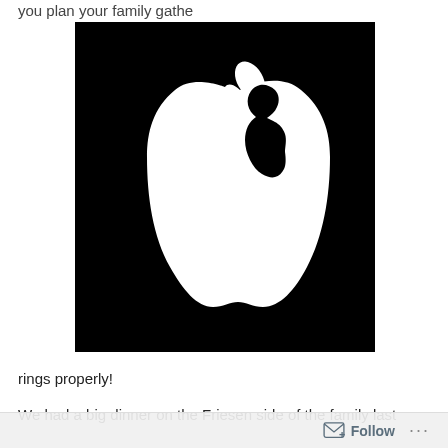you plan your family gathe
[Figure (illustration): Black background with white Apple logo silhouette, the bite of the apple shaped as a side profile of Steve Jobs face]
rings properly!
We had a big dinner on the Friesen side of the family last
Follow ...